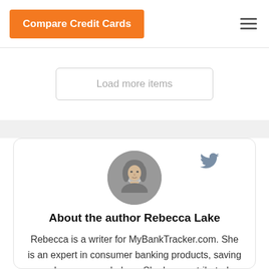Compare Credit Cards
Load more items
[Figure (photo): Circular black-and-white headshot photo of Rebecca Lake]
About the author Rebecca Lake
Rebecca is a writer for MyBankTracker.com. She is an expert in consumer banking products, saving and money psychology. She has contributed